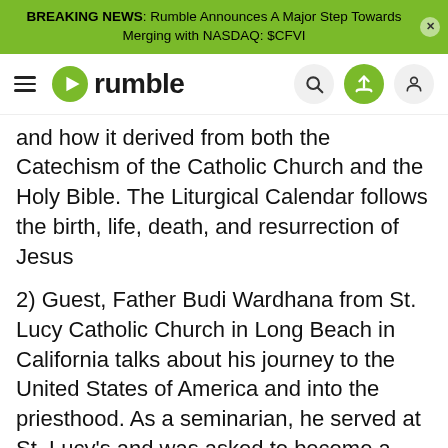BREAKING NEWS: Rumble Announces A Major Step Towards Merging with NASDAQ: $CFVI
[Figure (logo): Rumble logo with hamburger menu and navigation icons (search, upload, profile)]
and how it derived from both the Catechism of the Catholic Church and the Holy Bible. The Liturgical Calendar follows the birth, life, death, and resurrection of Jesus
2) Guest, Father Budi Wardhana from St. Lucy Catholic Church in Long Beach in California talks about his journey to the United States of America and into the priesthood. As a seminarian, he served at St. Lucy's and was asked to become a Knight of Columbus
stlucyparish.org
3) California State Council Advocate, James